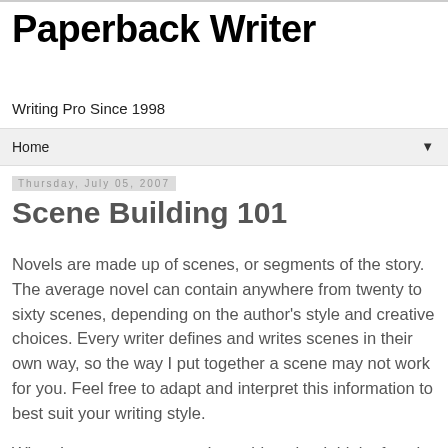Paperback Writer
Writing Pro Since 1998
Home ▼
Thursday, July 05, 2007
Scene Building 101
Novels are made up of scenes, or segments of the story. The average novel can contain anywhere from twenty to sixty scenes, depending on the author's style and creative choices. Every writer defines and writes scenes in their own way, so the way I put together a scene may not work for you. Feel free to adapt and interpret this information to best suit your writing style.
When I compose a scene, I consider what I think of as the